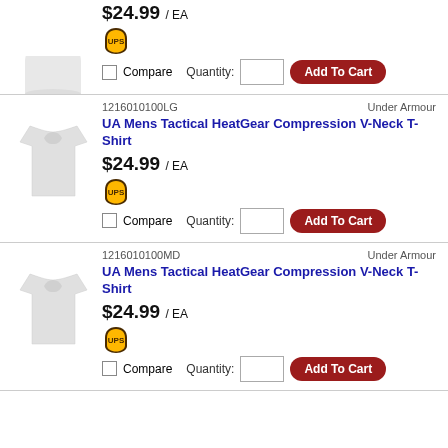$24.99 / EA
[Figure (logo): UPS shield logo]
Compare   Quantity:   Add To Cart
1216010100LG   Under Armour
[Figure (photo): White compression t-shirt product image]
UA Mens Tactical HeatGear Compression V-Neck T-Shirt
$24.99 / EA
[Figure (logo): UPS shield logo]
Compare   Quantity:   Add To Cart
1216010100MD   Under Armour
[Figure (photo): White compression t-shirt product image]
UA Mens Tactical HeatGear Compression V-Neck T-Shirt
$24.99 / EA
[Figure (logo): UPS shield logo]
Compare   Quantity:   Add To Cart